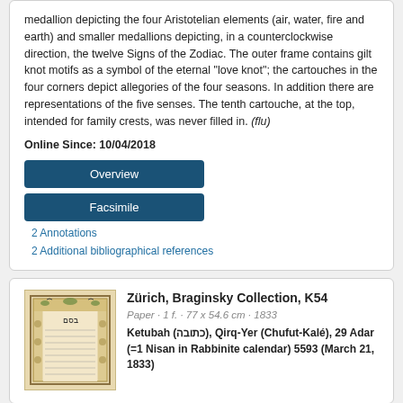medallion depicting the four Aristotelian elements (air, water, fire and earth) and smaller medallions depicting, in a counterclockwise direction, the twelve Signs of the Zodiac. The outer frame contains gilt knot motifs as a symbol of the eternal “love knot”; the cartouches in the four corners depict allegories of the four seasons. In addition there are representations of the five senses. The tenth cartouche, at the top, intended for family crests, was never filled in. (flu)
Online Since: 10/04/2018
Overview
Facsimile
2 Annotations
2 Additional bibliographical references
Zürich, Braginsky Collection, K54
Paper · 1 f. · 77 x 54.6 cm · 1833
Ketubah (כתובה), Qirq-Yer (Chufut-Kalé), 29 Adar (=1 Nisan in Rabbinite calendar) 5593 (March 21, 1833)